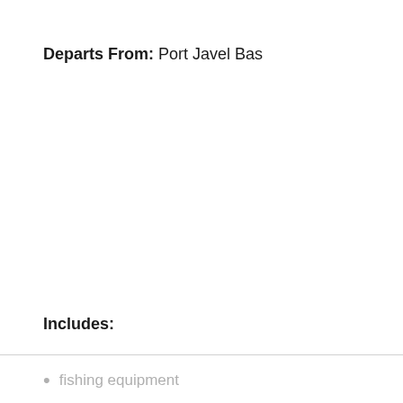Departs From: Port Javel Bas
Includes:
fishing equipment